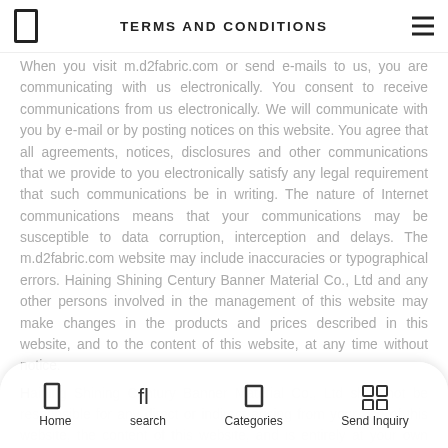TERMS AND CONDITIONS
When you visit m.d2fabric.com or send e-mails to us, you are communicating with us electronically. You consent to receive communications from us electronically. We will communicate with you by e-mail or by posting notices on this website. You agree that all agreements, notices, disclosures and other communications that we provide to you electronically satisfy any legal requirement that such communications be in writing. The nature of Internet communications means that your communications may be susceptible to data corruption, interception and delays. The m.d2fabric.com website may include inaccuracies or typographical errors. Haining Shining Century Banner Material Co., Ltd and any other persons involved in the management of this website may make changes in the products and prices described in this website, and to the content of this website, at any time without notice.
Haining Shining Century Banner Material Co., Ltd shall not be responsible for any direct or indirect arising from your use of this website, the content of this website, and is entirely at your own risk.